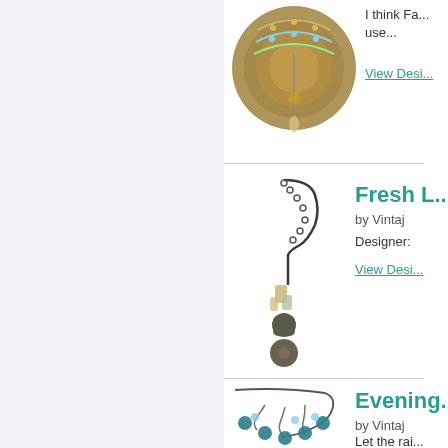[Figure (photo): Photo of layered beaded necklace on wooden surface]
I think Fa... use...
View Desi...
[Figure (photo): Photo of long pendant necklace with stone charms - Fresh L... by Vintaj]
Fresh L...
by Vintaj
Designer:
View Desi...
[Figure (photo): Photo of statement necklace with teal beads and filigree - Evening... by Vintaj]
Evening...
by Vintaj
Let the rai...
View Desi...